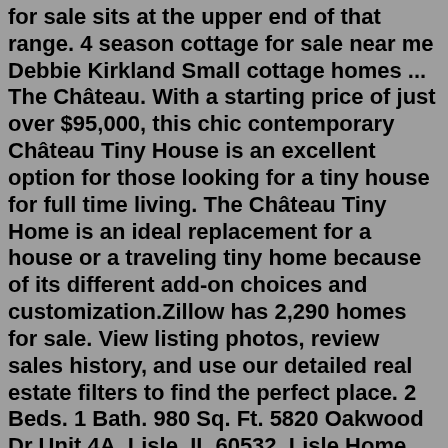for sale sits at the upper end of that range. 4 season cottage for sale near me Debbie Kirkland Small cottage homes ... The Château. With a starting price of just over $95,000, this chic contemporary Château Tiny House is an excellent option for those looking for a tiny house for full time living. The Château Tiny Home is an ideal replacement for a house or a traveling tiny home because of its different add-on choices and customization.Zillow has 2,290 homes for sale. View listing photos, review sales history, and use our detailed real estate filters to find the perfect place. 2 Beds. 1 Bath. 980 Sq. Ft. 5820 Oakwood Dr Unit 4A, Lisle, IL 60532. Lisle Home for Sale: Welcome to the Villas of Versailles. This Luxury Duplex with open floor plan offers 3 levels of living space, and a FULL walkout basement with bathroom rough in, just waiting to be finished.20951 STATE HIGHWAY 22 - RICHMOND MN. MLS# 6217470 - LAKE HOME | 3 BEDROOMS | 2 BATHROOMS. HORSESHOE. DON'T MISS THIS BEAUTIFUL WALKOUT RAMBLER WITH 200 FEET OF SHORELINE AND